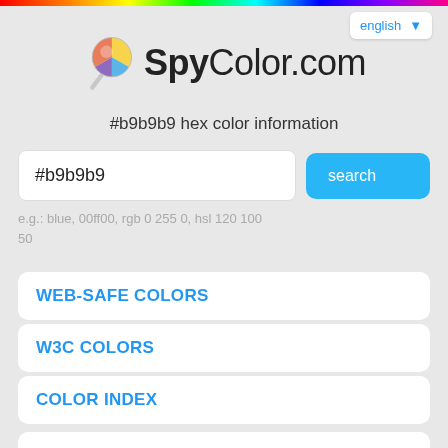rainbow bar decoration
english ▼
[Figure (logo): SpyColor.com logo with colorful magnifying glass icon and bold text SpyColor.com]
#b9b9b9 hex color information
#b9b9b9
search
e.g.: blue, 00ff00, rgb 0 255 0, hsl 120 100 50
WEB-SAFE COLORS
W3C COLORS
COLOR INDEX
#b9b9b9 basic color information
In the RGB